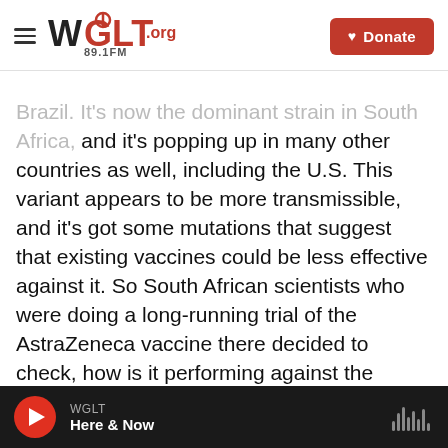WGLT.org 89.1FM | Donate
Brazil. It's now the dominant strain in South Africa, and it's popping up in many other countries as well, including the U.S. This variant appears to be more transmissible, and it's got some mutations that suggest that existing vaccines could be less effective against it. So South African scientists who were doing a long-running trial of the AstraZeneca vaccine there decided to check, how is it performing against the variant? Sunday night, the lead researcher, Shabir Madhi, announced in a televised national briefing that the results of this preliminary analysis were troubling. In the trial they conducted with about 2,000 South Africans, the
WGLT | Here & Now